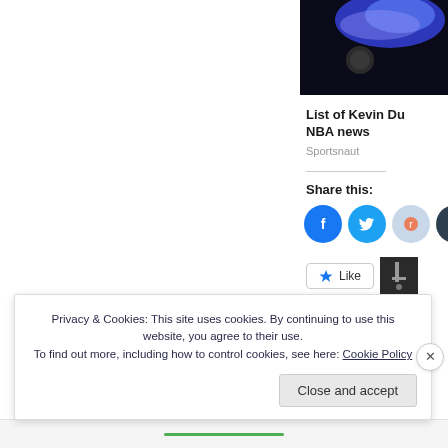[Figure (photo): Dark photo with blue glow/light at top, appears to be a sports/arena scene]
List of Kevin Du... NBA news
Sportsnaut
Share this:
[Figure (other): Social share icons: Facebook, Twitter, Reddit, Tumblr]
[Figure (other): Like button and small thumbnail image]
Privacy & Cookies: This site uses cookies. By continuing to use this website, you agree to their use.
To find out more, including how to control cookies, see here: Cookie Policy
Close and accept